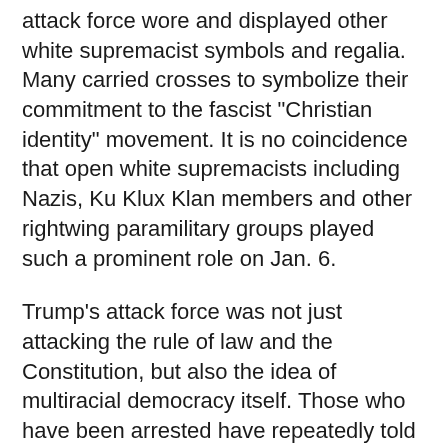attack force wore and displayed other white supremacist symbols and regalia. Many carried crosses to symbolize their commitment to the fascist "Christian identity" movement. It is no coincidence that open white supremacists including Nazis, Ku Klux Klan members and other rightwing paramilitary groups played such a prominent role on Jan. 6.
Trump's attack force was not just attacking the rule of law and the Constitution, but also the idea of multiracial democracy itself. Those who have been arrested have repeatedly told law enforcement that they were acting out of "patriotism". The traitors in the old Confederacy used similar language.